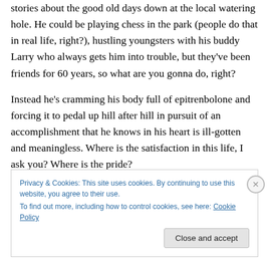stories about the good old days down at the local watering hole. He could be playing chess in the park (people do that in real life, right?), hustling youngsters with his buddy Larry who always gets him into trouble, but they've been friends for 60 years, so what are you gonna do, right?
Instead he's cramming his body full of epitrenbolone and forcing it to pedal up hill after hill in pursuit of an accomplishment that he knows in his heart is ill-gotten and meaningless. Where is the satisfaction in this life, I ask you? Where is the pride?
Privacy & Cookies: This site uses cookies. By continuing to use this website, you agree to their use.
To find out more, including how to control cookies, see here: Cookie Policy